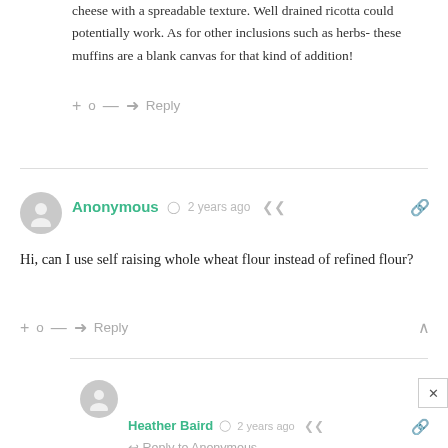cheese with a spreadable texture. Well drained ricotta could potentially work. As for other inclusions such as herbs- these muffins are a blank canvas for that kind of addition!
+ 0 — → Reply
Anonymous · 2 years ago
Hi, can I use self raising whole wheat flour instead of refined flour?
+ 0 — → Reply
Heather Baird · 2 years ago
↩ Reply to Anonymous